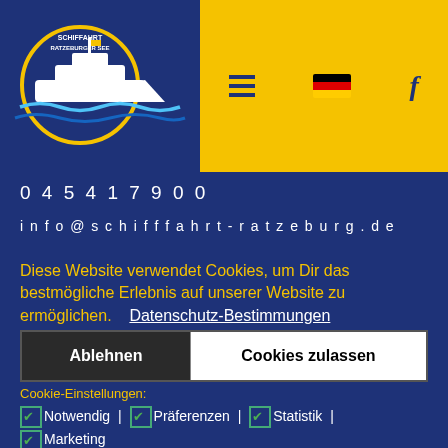[Figure (logo): Schifffahrt Ratzeburger See logo with ship silhouette on blue background]
[Figure (infographic): Yellow navigation panel with hamburger menu, German flag, and Facebook icon]
04541 7900
info@schifffahrt-ratzeburg.de
Diese Website verwendet Cookies, um Dir das bestmögliche Erlebnis auf unserer Website zu ermöglichen. Datenschutz-Bestimmungen
Ablehnen | Cookies zulassen
Cookie-Einstellungen: Notwendig | Präferenzen | Statistik | Marketing